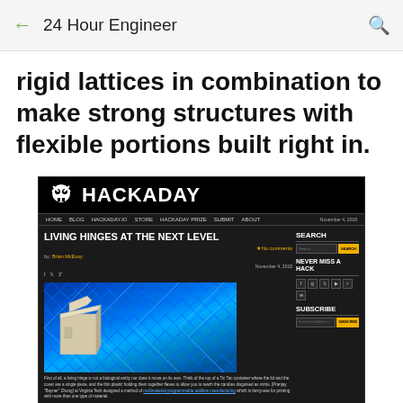24 Hour Engineer
rigid lattices in combination to make strong structures with flexible portions built right in.
[Figure (screenshot): Screenshot of the Hackaday website showing an article titled 'LIVING HINGES AT THE NEXT LEVEL' by Brian McEvoy, dated November 4, 2018. The page shows the Hackaday logo with skull icon, navigation menu (HOME, BLOG, HACKADAY.IO, STORE, HACKADAY PRIZE, SUBMIT, ABOUT), a featured image of a blue lattice structure with a white 3D-printed hinge component, sidebar with SEARCH, NEVER MISS A HACK social icons, and SUBSCRIBE email form.]